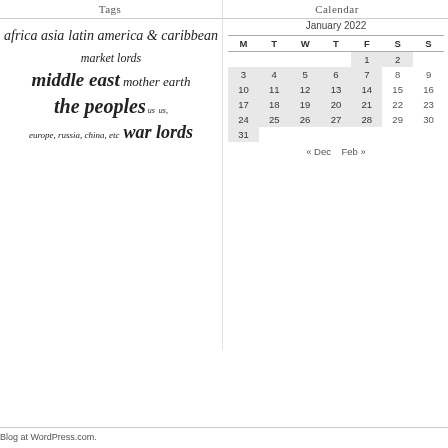Tags
africa asia latin america & caribbean market lords middle east mother earth the peoples us us, europe, russia, china, etc war lords
Calendar
| M | T | W | T | F | S | S |
| --- | --- | --- | --- | --- | --- | --- |
|  |  |  |  | 1 | 2 |
| 3 | 4 | 5 | 6 | 7 | 8 | 9 |
| 10 | 11 | 12 | 13 | 14 | 15 | 16 |
| 17 | 18 | 19 | 20 | 21 | 22 | 23 |
| 24 | 25 | 26 | 27 | 28 | 29 | 30 |
| 31 |  |  |  |  |  |  |
« Dec   Feb »
Blog at WordPress.com.